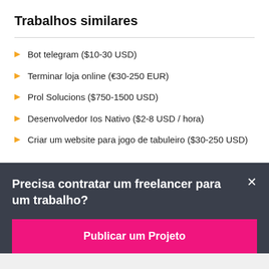Trabalhos similares
Bot telegram ($10-30 USD)
Terminar loja online (€30-250 EUR)
Prol Solucions ($750-1500 USD)
Desenvolvedor Ios Nativo ($2-8 USD / hora)
Criar um website para jogo de tabuleiro ($30-250 USD)
Precisa contratar um freelancer para um trabalho?
Publicar um Projeto